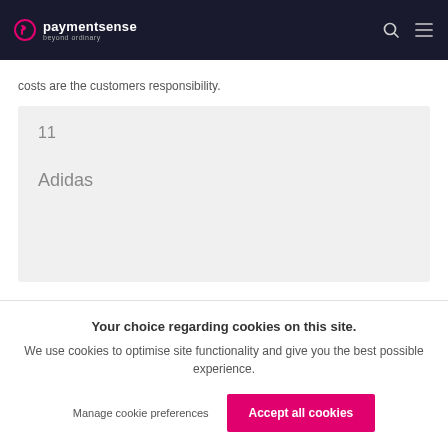paymentsense beyond ordinary
costs are the customers responsibility.
11
Adidas
Your choice regarding cookies on this site.
We use cookies to optimise site functionality and give you the best possible experience.
Manage cookie preferences
Accept all cookies